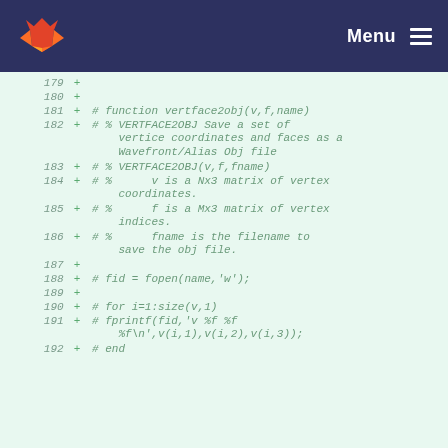Menu
[Figure (screenshot): GitLab-style code diff view showing lines 179-192 of a MATLAB/Octave file with added lines (marked with +) containing vertface2obj function documentation and code comments]
179 +
180 +
181 + # function vertface2obj(v,f,name)
182 + # % VERTFACE2OBJ Save a set of vertice coordinates and faces as a Wavefront/Alias Obj file
183 + # % VERTFACE2OBJ(v,f,fname)
184 + # %      v is a Nx3 matrix of vertex coordinates.
185 + # %      f is a Mx3 matrix of vertex indices.
186 + # %      fname is the filename to save the obj file.
187 +
188 + # fid = fopen(name,'w');
189 +
190 + # for i=1:size(v,1)
191 + # fprintf(fid,'v %f %f %f\n',v(i,1),v(i,2),v(i,3));
192 + # end